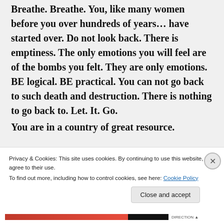Breathe. Breathe. You, like many women before you over hundreds of years… have started over. Do not look back. There is emptiness. The only emotions you will feel are of the bombs you felt. They are only emotions. BE logical. BE practical. You can not go back to such death and destruction. There is nothing to go back to. Let. It. Go. You are in a country of great resource.
Privacy & Cookies: This site uses cookies. By continuing to use this website, you agree to their use. To find out more, including how to control cookies, see here: Cookie Policy